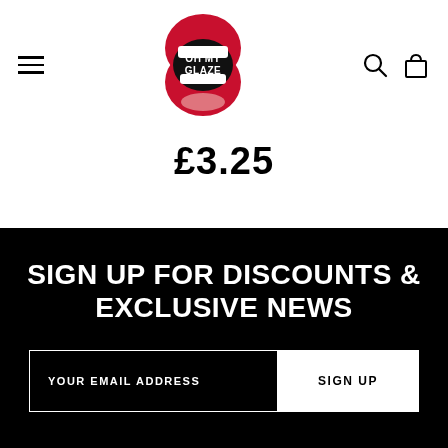[Figure (logo): Oh My Glaze logo — open mouth with lips and text 'OH MY GLAZE' inside]
£3.25
SIGN UP FOR DISCOUNTS & EXCLUSIVE NEWS
YOUR EMAIL ADDRESS
SIGN UP